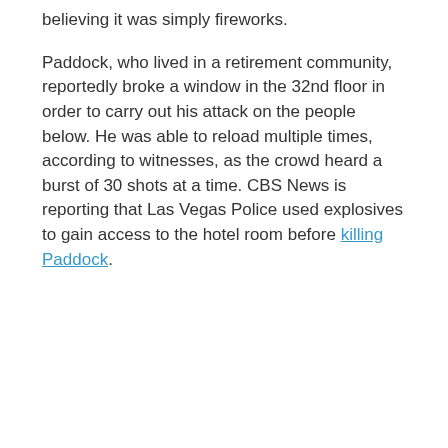believing it was simply fireworks.
Paddock, who lived in a retirement community, reportedly broke a window in the 32nd floor in order to carry out his attack on the people below. He was able to reload multiple times, according to witnesses, as the crowd heard a burst of 30 shots at a time. CBS News is reporting that Las Vegas Police used explosives to gain access to the hotel room before killing Paddock.